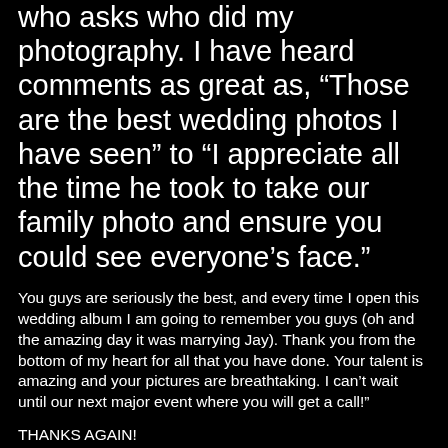who asks who did my photography. I have heard comments as great as, “Those are the best wedding photos I have seen” to “I appreciate all the time he took to take our family photo and ensure you could see everyone’s face.”
You guys are seriously the best, and every time I open this wedding album I am going to remember you guys (oh and the amazing day it was marrying Jay). Thank you from the bottom of my heart for all that you have done. Your talent is amazing and your pictures are breathtaking. I can’t wait until our next major event where you will get a call!”
THANKS AGAIN!
Vanessa & Jay – Rusty’s Hitchin’ Post Event Center Wedding in New Richmond, Wisconsin